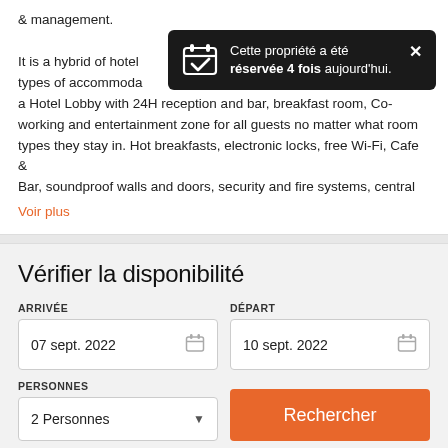& management.

It is a hybrid of hotel and other types of accommodation with a Hotel Lobby with 24H reception and bar, breakfast room, Co-working and entertainment zone for all guests no matter what room types they stay in. Hot breakfasts, electronic locks, free Wi-Fi, Cafe & Bar, soundproof walls and doors, security and fire systems, central
Voir plus
[Figure (infographic): Dark toast notification popup reading: Cette propriété a été réservée 4 fois aujourd'hui. with a calendar checkmark icon and close button.]
Vérifier la disponibilité
ARRIVÉE
07 sept. 2022
DÉPART
10 sept. 2022
PERSONNES
2 Personnes
Rechercher